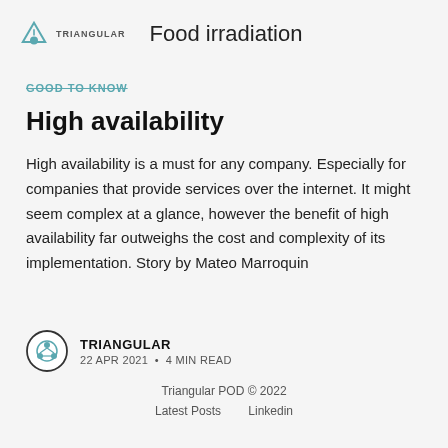Food irradiation
GOOD TO KNOW
High availability
High availability is a must for any company. Especially for companies that provide services over the internet. It might seem complex at a glance, however the benefit of high availability far outweighs the cost and complexity of its implementation. Story by Mateo Marroquin
TRIANGULAR
22 APR 2021 • 4 MIN READ
Triangular POD © 2022
Latest Posts    Linkedin